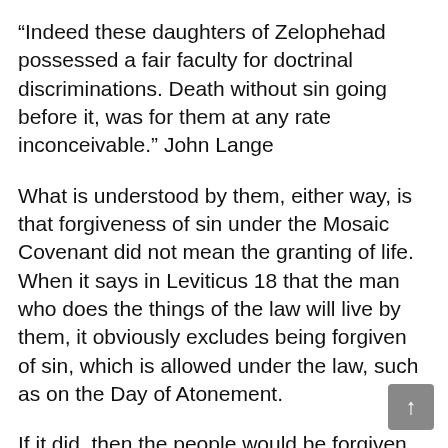“Indeed these daughters of Zelophehad possessed a fair faculty for doctrinal discriminations. Death without sin going before it, was for them at any rate inconceivable.” John Lange
What is understood by them, either way, is that forgiveness of sin under the Mosaic Covenant did not mean the granting of life. When it says in Leviticus 18 that the man who does the things of the law will live by them, it obviously excludes being forgiven of sin, which is allowed under the law, such as on the Day of Atonement.
If it did, then the people would be forgiven and never die. However, they were forgiven, but still died. The imperfection of the Mosaic Law is seen in this simple statement by the daughters of Zelophehad. Death under the law of Moses was a